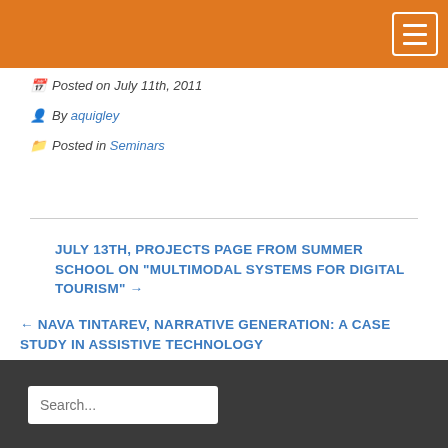Posted on July 11th, 2011
By aquigley
Posted in Seminars
JULY 13TH, PROJECTS PAGE FROM SUMMER SCHOOL ON "MULTIMODAL SYSTEMS FOR DIGITAL TOURISM" →
← NAVA TINTAREV, NARRATIVE GENERATION: A CASE STUDY IN ASSISTIVE TECHNOLOGY
Search...